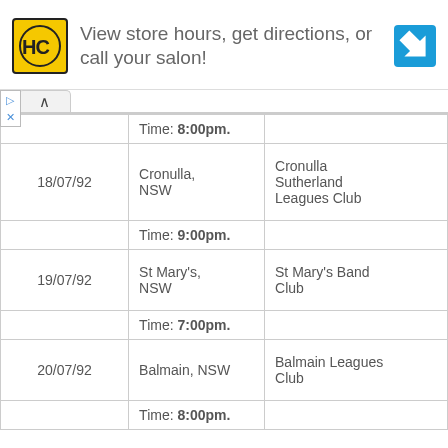[Figure (other): Advertisement banner: HC salon logo (yellow square with HC text), text 'View store hours, get directions, or call your salon!', blue navigation arrow icon]
| Date | Location | Venue |
| --- | --- | --- |
|  | Time: 8:00pm. |  |
| 18/07/92 | Cronulla, NSW | Cronulla Sutherland Leagues Club |
|  | Time: 9:00pm. |  |
| 19/07/92 | St Mary's, NSW | St Mary's Band Club |
|  | Time: 7:00pm. |  |
| 20/07/92 | Balmain, NSW | Balmain Leagues Club |
|  | Time: 8:00pm. |  |